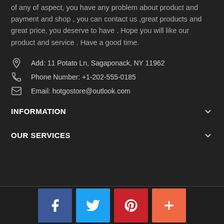of any of aspect, you have any problem about product and payment and shop , you can contact us ,great products and great price, you deserve to have . Hope you will like our product and service . Have a good time.
Add: 11 Potato Ln, Sagaponack, NY 11962
Phone Number: +1-202-555-0185
Email: hotgostore@outlook.com
INFORMATION
OUR SERVICES
[Figure (infographic): Social media icon buttons: Facebook (blue), Twitter (light blue), Pinterest (red), and a plus/add button (orange-red)]